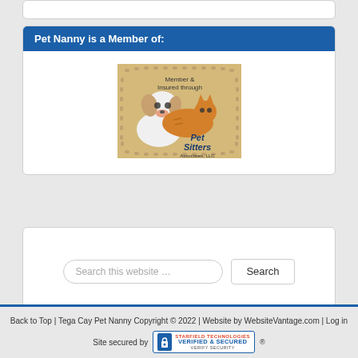Pet Nanny is a Member of:
[Figure (logo): Pet Sitters Associates LLC membership badge with cartoon dog and cat illustration, text reads 'Member & Insured through Pet Sitters Associates, LLC']
Search this website …
Search
Back to Top | Tega Cay Pet Nanny Copyright © 2022 | Website by WebsiteVantage.com | Log in
Site secured by [Starfield Technologies Verified & Secured badge]